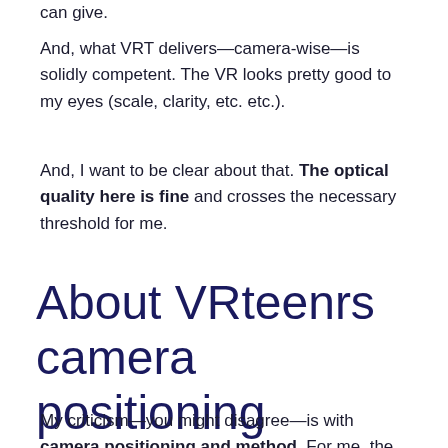can give.
And, what VRT delivers—camera-wise—is solidly competent. The VR looks pretty good to my eyes (scale, clarity, etc. etc.).
And, I want to be clear about that. The optical quality here is fine and crosses the necessary threshold for me.
About VRteenrs camera positioning
My criticism—you might disagree—is with camera positioning and method. For me, the